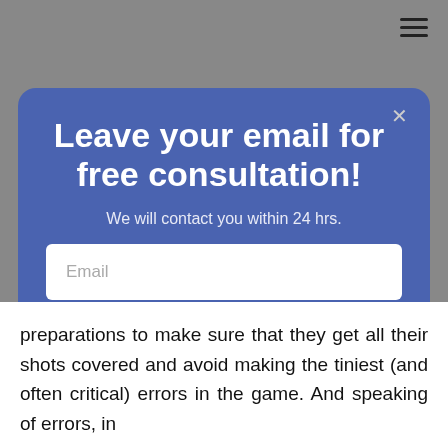[Figure (screenshot): Hamburger menu icon (three horizontal lines) in top right corner of page]
Leave your email for free consultation!
We will contact you within 24 hrs.
Email
SIGN ME UP!
preparations to make sure that they get all their shots covered and avoid making the tiniest (and often critical) errors in the game. And speaking of errors, in